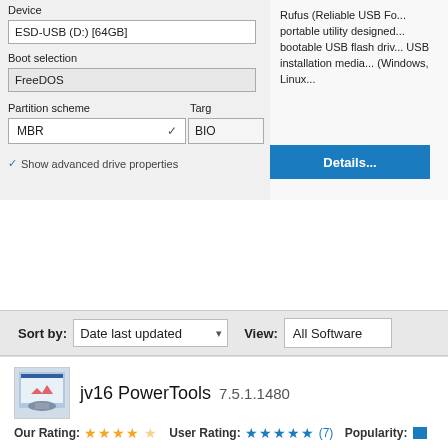[Figure (screenshot): Rufus USB creation utility dialog showing Device: ESD-USB (D:) [64GB], Boot selection: FreeDOS, Partition scheme: MBR, Target system: BIO, with Show advanced drive properties link, and Rufus description text with Details button]
Sort by: Date last updated    View: All Software
[Figure (screenshot): jv16 PowerTools 7.5.1.1480 software listing with icon, Our Rating 4.5 stars, User Rating 5 stars (7), Popularity bar, and description text about registry and system clean-up tools]
jv16 PowerTools is a collection of registry and system clean-u... users. It includes more than 25 tools to speed-up your compu... system, work with files, automate tasks and... →